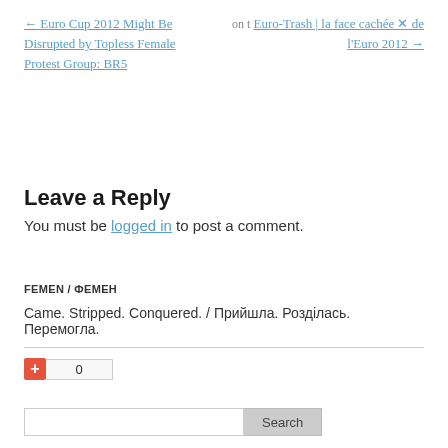← Euro Cup 2012 Might Be Disrupted by Topless Female Protest Group: BR5  on t  Euro-Trash | la face cachée ✕ de l'Euro 2012 →
Leave a Reply
You must be logged in to post a comment.
FEMEN / ФЕМЕН
Came. Stripped. Conquered. / Прийшла. Розділась. Перемогла.
+ 0
Search